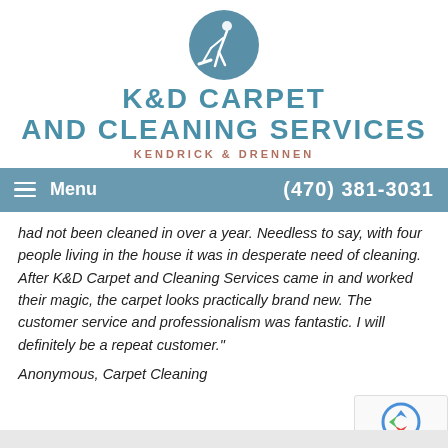[Figure (logo): K&D Carpet and Cleaning Services logo with circular icon showing a cleaning figure and teal background]
K&D CARPET AND CLEANING SERVICES KENDRICK & DRENNEN
Menu  (470) 381-3031
had not been cleaned in over a year. Needless to say, with four people living in the house it was in desperate need of cleaning. After K&D Carpet and Cleaning Services came in and worked their magic, the carpet looks practically brand new. The customer service and professionalism was fantastic. I will definitely be a repeat customer."
Anonymous, Carpet Cleaning